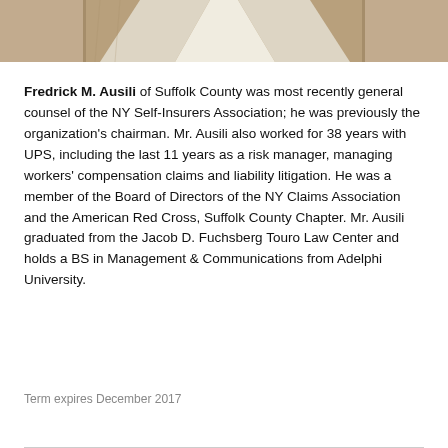[Figure (photo): Partial photo of Fredrick M. Ausili showing his torso in a suit jacket with lapels visible]
Fredrick M. Ausili of Suffolk County was most recently general counsel of the NY Self-Insurers Association; he was previously the organization's chairman. Mr. Ausili also worked for 38 years with UPS, including the last 11 years as a risk manager, managing workers' compensation claims and liability litigation. He was a member of the Board of Directors of the NY Claims Association and the American Red Cross, Suffolk County Chapter. Mr. Ausili graduated from the Jacob D. Fuchsberg Touro Law Center and holds a BS in Management & Communications from Adelphi University.
Term expires December 2017